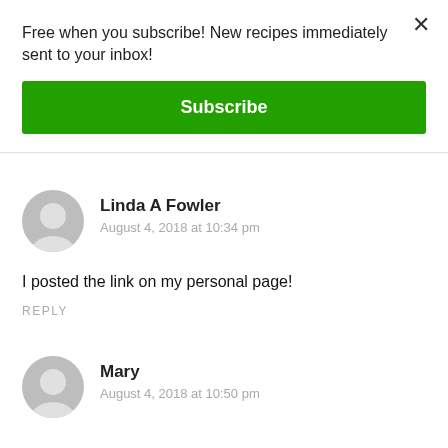Free when you subscribe! New recipes immediately sent to your inbox!
Subscribe
×
Linda A Fowler
August 4, 2018 at 10:34 pm
I posted the link on my personal page!
REPLY
Mary
August 4, 2018 at 10:50 pm